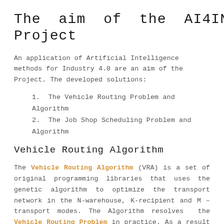The aim of the AI4IN4 Project
An application of Artificial Intelligence methods for Industry 4.0 are an aim of the Project. The developed solutions:
1. The Vehicle Routing Problem and Algorithm
2. The Job Shop Scheduling Problem and Algorithm
Vehicle Routing Algorithm
The Vehicle Routing Algorithm (VRA) is a set of original programming libraries that uses the genetic algorithm to optimize the transport network in the N-warehouse, K-recipient and M – transport modes. The Algorithm resolves the Vehicle Routing Problem in practice. As a result of the operation, the algorithm